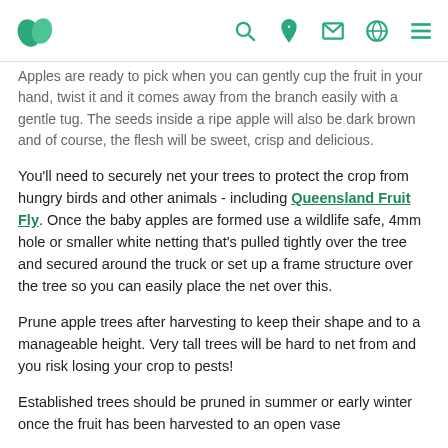Logo and navigation icons
Apples are ready to pick when you can gently cup the fruit in your hand, twist it and it comes away from the branch easily with a gentle tug. The seeds inside a ripe apple will also be dark brown and of course, the flesh will be sweet, crisp and delicious.
You'll need to securely net your trees to protect the crop from hungry birds and other animals - including Queensland Fruit Fly. Once the baby apples are formed use a wildlife safe, 4mm hole or smaller white netting that's pulled tightly over the tree and secured around the truck or set up a frame structure over the tree so you can easily place the net over this.
Prune apple trees after harvesting to keep their shape and to a manageable height. Very tall trees will be hard to net from and you risk losing your crop to pests!
Established trees should be pruned in summer or early winter once the fruit has been harvested to an open vase